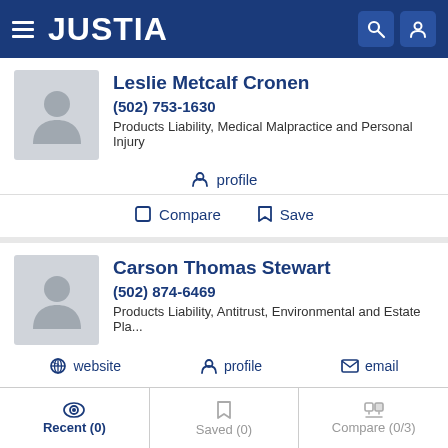JUSTIA
Leslie Metcalf Cronen
(502) 753-1630
Products Liability, Medical Malpractice and Personal Injury
profile
Compare  Save
Carson Thomas Stewart
(502) 874-6469
Products Liability, Antitrust, Environmental and Estate Pla...
website  profile  email
Recent (0)  Saved (0)  Compare (0/3)